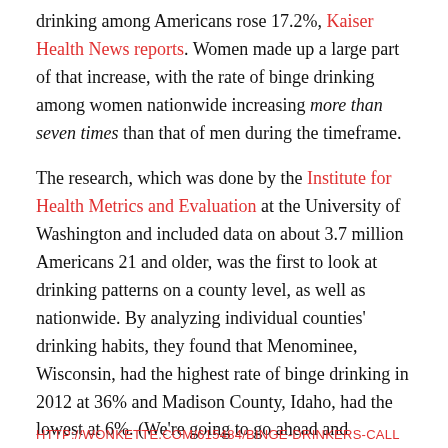drinking among Americans rose 17.2%, Kaiser Health News reports. Women made up a large part of that increase, with the rate of binge drinking among women nationwide increasing more than seven times than that of men during the timeframe.
The research, which was done by the Institute for Health Metrics and Evaluation at the University of Washington and included data on about 3.7 million Americans 21 and older, was the first to look at drinking patterns on a county level, as well as nationwide. By analyzing individual counties' drinking habits, they found that Menominee, Wisconsin, had the highest rate of binge drinking in 2012 at 36% and Madison County, Idaho, had the lowest at 6%. (We're going to go ahead and
HTTP://WONKETTE.COM/615484/BINGE-DRINKERS-CALL